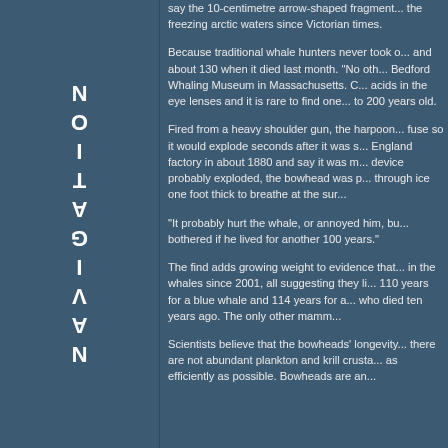say the 10-centimetre arrow-shaped fragment... the freezing arctic waters since Victorian times.
Because traditional whale hunters never took o... and about 130 when it died last month. "No oth... Bedford Whaling Museum in Massachusetts. C... acids in the eye lenses and it is rare to find one... to 200 years old.
Fired from a heavy shoulder gun, the harpoon... fuse so it would explode seconds after it was s... England factory in about 1880 and say it was m... device probably exploded, the bowhead was p... through ice one foot thick to breathe at the sur...
"It probably hurt the whale, or annoyed him, bu... bothered if he lived for another 100 years."
The find adds growing weight to evidence that... in the whales since 2001, all suggesting they li... 110 years for a blue whale and 114 years for a... who died ten years ago. The only other mamm...
Scientists believe that the bowheads' longevity... there are not abundant plankton and krill crusta... as efficiently as possible. Bowheads are an...
NAVIGATION